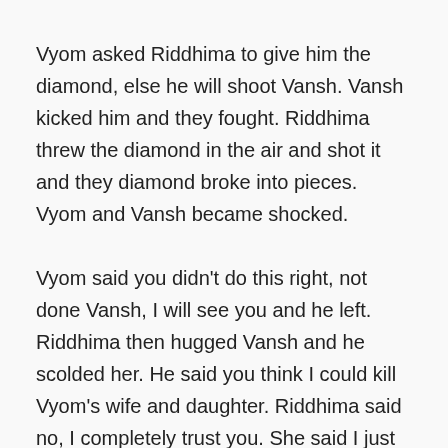Vyom asked Riddhima to give him the diamond, else he will shoot Vansh. Vansh kicked him and they fought. Riddhima threw the diamond in the air and shot it and they diamond broke into pieces. Vyom and Vansh became shocked.
Vyom said you didn't do this right, not done Vansh, I will see you and he left. Riddhima then hugged Vansh and he scolded her. He said you think I could kill Vyom's wife and daughter. Riddhima said no, I completely trust you. She said I just wanted your misunderstanding to get cleared.